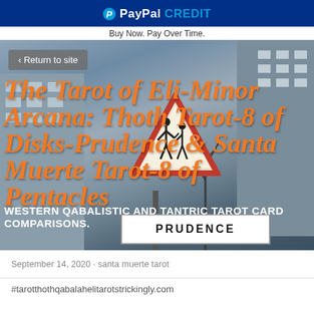[Figure (logo): PayPal Credit banner with blue background, PayPal P logo and text 'PayPal CREDIT' in white]
Buy Now. Pay Over Time.
[Figure (photo): Urban street scene with buildings, a triangular road warning sign (PRUDENCE) with pedestrian figures, bare trees, and orange bold italic title text overlaid: 'The Tarot of Eli- Minor Arcana: Thoth Tarot-8 of Disks-Prudence & Santa Muerte Tarot-8 of Pentacles' with subtitle 'WESTERN QABALISTIC AND TANTRIC TAROT CARD COMPARISONS.' A 'Return to site' button is visible top left.]
September 14, 2020 · santa muerte tarot
#tarotthothqabalahelitarotstrickingly.com